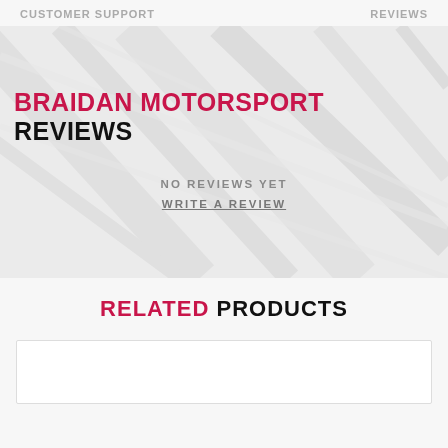CUSTOMER SUPPORT    REVIEWS
[Figure (illustration): Banner with faded road/track aerial photo background. Contains heading 'BRAIDAN MOTORSPORT REVIEWS', subtext 'NO REVIEWS YET', and link 'WRITE A REVIEW'.]
RELATED PRODUCTS
[Figure (other): White product card placeholder at the bottom]